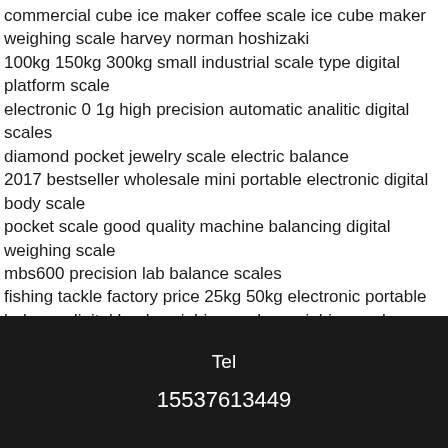commercial cube ice maker coffee scale ice cube maker weighing scale harvey norman hoshizaki 100kg 150kg 300kg small industrial scale type digital platform scale electronic 0 1g high precision automatic analitic digital scales diamond pocket jewelry scale electric balance 2017 bestseller wholesale mini portable electronic digital body scale pocket scale good quality machine balancing digital weighing scale mbs600 precision lab balance scales fishing tackle factory price 25kg 50kg electronic portable balance digital hook weighing scales weighing scale measure i2000 jewelry scale pocket scale 0 1g 0 01g portable pocket scale
Tel 15537613449